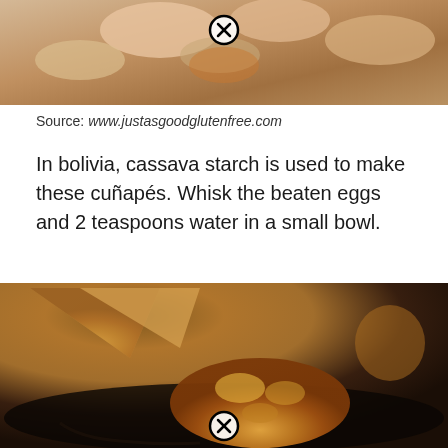[Figure (photo): Close-up photo of hands holding food items, cropped at top of page with a close/X button overlay]
Source: www.justasgoodglutenfree.com
In bolivia, cassava starch is used to make these cuñapés. Whisk the beaten eggs and 2 teaspoons water in a small bowl.
[Figure (photo): Close-up photo of fried or baked food items (cuñapés) on a dark plate with a close/X button overlay]